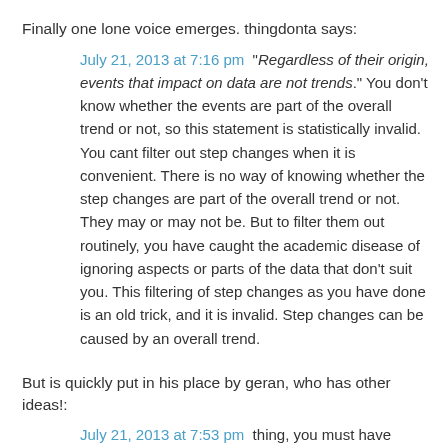Finally one lone voice emerges. thingdonta says:
July 21, 2013 at 7:16 pm  “Regardless of their origin, events that impact on data are not trends.” You don’t know whether the events are part of the overall trend or not, so this statement is statistically invalid. You cant filter out step changes when it is convenient. There is no way of knowing whether the step changes are part of the overall trend or not. They may or may not be. But to filter them out routinely, you have caught the academic disease of ignoring aspects or parts of the data that don’t suit you. This filtering of step changes as you have done is an old trick, and it is invalid. Step changes can be caused by an overall trend.
But is quickly put in his place by geran, who has other ideas!:
July 21, 2013 at 7:53 pm  thing, you must have missed the next sentence: